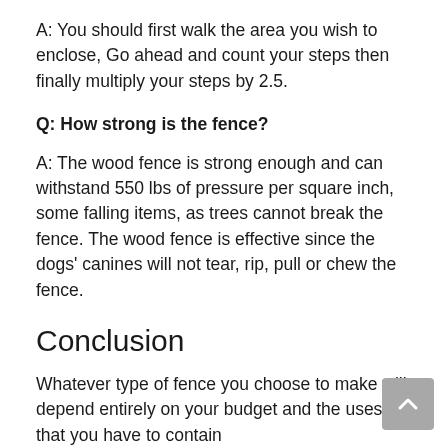A: You should first walk the area you wish to enclose, Go ahead and count your steps then finally multiply your steps by 2.5.
Q: How strong is the fence?
A: The wood fence is strong enough and can withstand 550 lbs of pressure per square inch, some falling items, as trees cannot break the fence. The wood fence is effective since the dogs' canines will not tear, rip, pull or chew the fence.
Conclusion
Whatever type of fence you choose to make will depend entirely on your budget and the uses that you have to contain